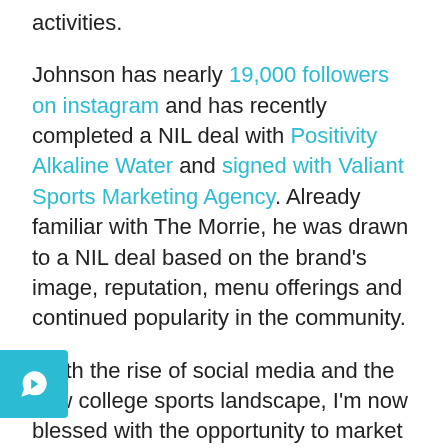activities.
Johnson has nearly 19,000 followers on instagram and has recently completed a NIL deal with Positivity Alkaline Water and signed with Valiant Sports Marketing Agency. Already familiar with The Morrie, he was drawn to a NIL deal based on the brand's image, reputation, menu offerings and continued popularity in the community.
“With the rise of social media and the new college sports landscape, I’m now blessed with the opportunity to market myself and my brand, and further the business goals of my brand partners, as I plan to do with The Morrie,” said Johnson. “Working with one of the hottest restaurant and live music venues in Michigan perfectly matches my vibe and who I am.”